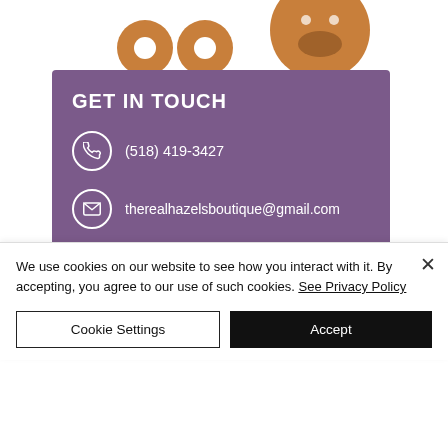[Figure (illustration): Decorative donut/cookie illustration at top — two round donut shapes and a smiling face in brown/tan color]
GET IN TOUCH
(518) 419-3427
therealhazelsboutique@gmail.com
[Figure (illustration): Social media icons: Instagram, Facebook, Twitter in white circles on purple background]
We use cookies on our website to see how you interact with it. By accepting, you agree to our use of such cookies. See Privacy Policy